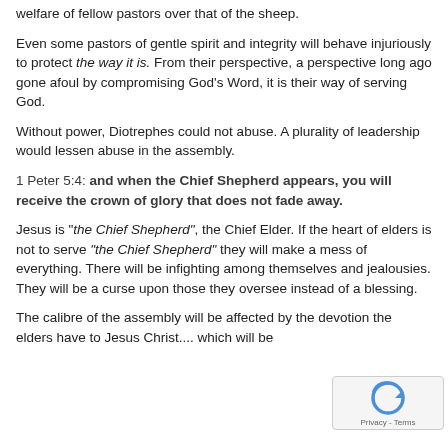welfare of fellow pastors over that of the sheep.
Even some pastors of gentle spirit and integrity will behave injuriously to protect the way it is. From their perspective, a perspective long ago gone afoul by compromising God's Word, it is their way of serving God.
Without power, Diotrephes could not abuse. A plurality of leadership would lessen abuse in the assembly.
1 Peter 5:4: and when the Chief Shepherd appears, you will receive the crown of glory that does not fade away.
Jesus is "the Chief Shepherd", the Chief Elder. If the heart of elders is not to serve "the Chief Shepherd" they will make a mess of everything. There will be infighting among themselves and jealousies. They will be a curse upon those they oversee instead of a blessing.
The calibre of the assembly will be affected by the devotion the elders have to Jesus Christ.... which will be